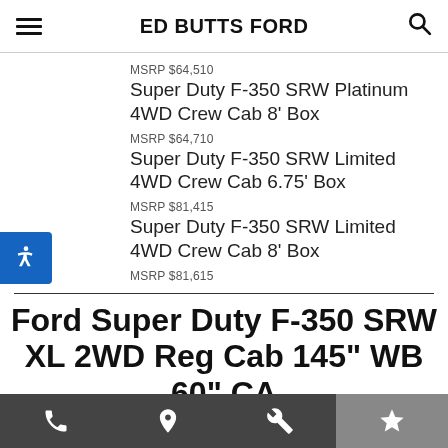ED BUTTS FORD
MSRP $64,510
Super Duty F-350 SRW Platinum 4WD Crew Cab 8' Box
MSRP $64,710
Super Duty F-350 SRW Limited 4WD Crew Cab 6.75' Box
MSRP $81,415
Super Duty F-350 SRW Limited 4WD Crew Cab 8' Box
MSRP $81,615
Ford Super Duty F-350 SRW XL 2WD Reg Cab 145" WB 60" CA
Standard Equipment